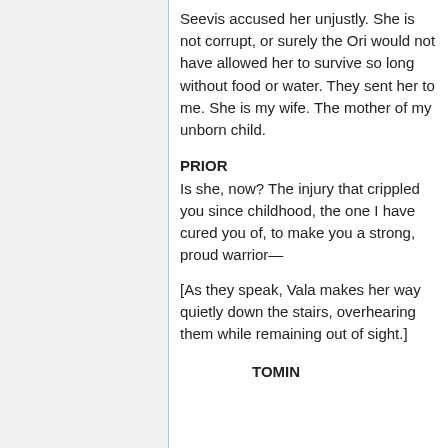Seevis accused her unjustly. She is not corrupt, or surely the Ori would not have allowed her to survive so long without food or water. They sent her to me. She is my wife. The mother of my unborn child.
PRIOR
Is she, now? The injury that crippled you since childhood, the one I have cured you of, to make you a strong, proud warrior—
[As they speak, Vala makes her way quietly down the stairs, overhearing them while remaining out of sight.]
TOMIN